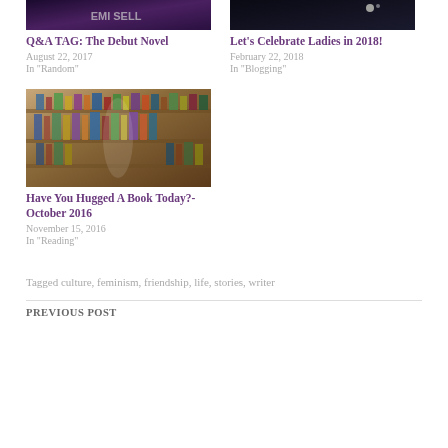[Figure (photo): Book/space themed image for Q&A TAG: The Debut Novel post]
Q&A TAG: The Debut Novel
August 22, 2017
In "Random"
[Figure (photo): Dark themed image for Let's Celebrate Ladies in 2018! post]
Let's Celebrate Ladies in 2018!
February 22, 2018
In "Blogging"
[Figure (photo): Library/bookshelf image for Have You Hugged A Book Today?- October 2016 post]
Have You Hugged A Book Today?- October 2016
November 15, 2016
In "Reading"
Tagged culture, feminism, friendship, life, stories, writer
PREVIOUS POST